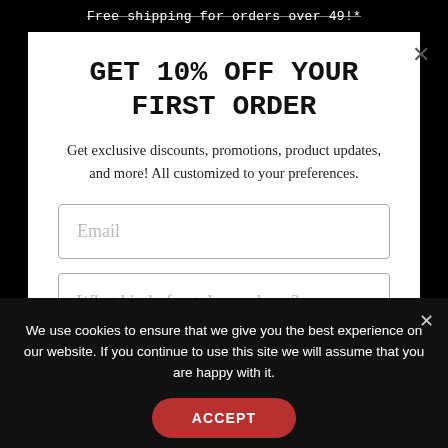Free shipping for orders over 49!*
GET 10% OFF YOUR FIRST ORDER
Get exclusive discounts, promotions, product updates, and more! All customized to your preferences.
Email
What kind of pet do you have?
We use cookies to ensure that we give you the best experience on our website. If you continue to use this site we will assume that you are happy with it.
ACCEPT